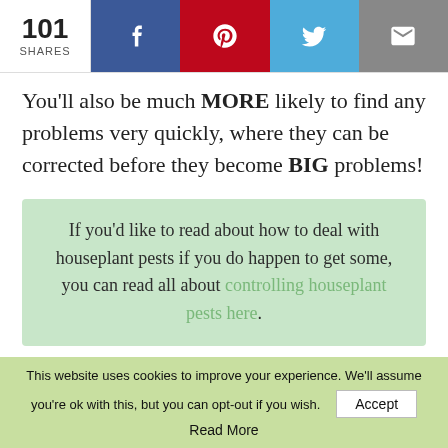101 SHARES
You'll also be much MORE likely to find any problems very quickly, where they can be corrected before they become BIG problems!
If you'd like to read about how to deal with houseplant pests if you do happen to get some, you can read all about controlling houseplant pests here.
This website uses cookies to improve your experience. We'll assume you're ok with this, but you can opt-out if you wish. Accept
Read More